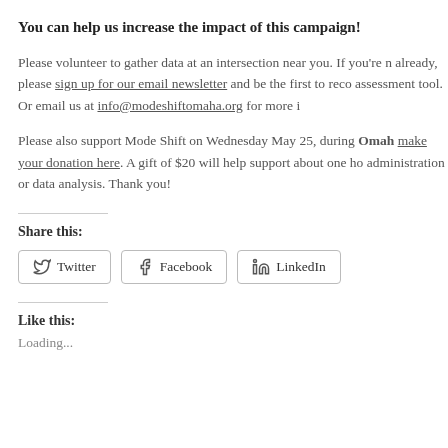You can help us increase the impact of this campaign!
Please volunteer to gather data at an intersection near you. If you're n already, please sign up for our email newsletter and be the first to reco assessment tool. Or email us at info@modeshiftomaha.org for more i
Please also support Mode Shift on Wednesday May 25, during Omah make your donation here. A gift of $20 will help support about one ho administration or data analysis. Thank you!
Share this:
[Figure (other): Social share buttons: Twitter, Facebook, LinkedIn]
Like this:
Loading...